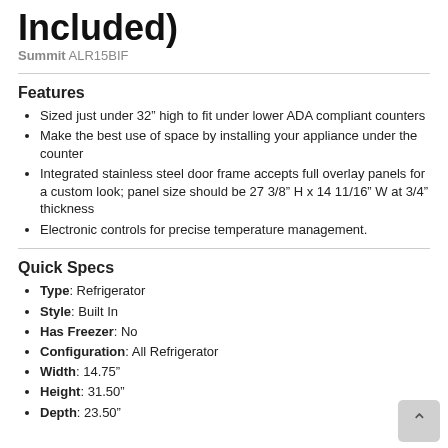Included)
Summit ALR15BIF
Features
Sized just under 32" high to fit under lower ADA compliant counters
Make the best use of space by installing your appliance under the counter
Integrated stainless steel door frame accepts full overlay panels for a custom look; panel size should be 27 3/8" H x 14 11/16" W at 3/4" thickness
Electronic controls for precise temperature management.
Quick Specs
Type: Refrigerator
Style: Built In
Has Freezer: No
Configuration: All Refrigerator
Width: 14.75"
Height: 31.50"
Depth: 23.50"